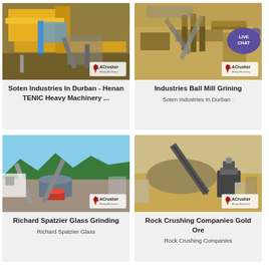[Figure (photo): Industrial crusher/mill machinery, yellow metal structure, aerial view with ACrusher logo badge]
Soten Industries In Durban - Henan TENIC Heavy Machinery ...
[Figure (photo): Aerial view of a quarry/mining processing plant with conveyor belts, ACrusher logo, Live Chat badge]
Industries Ball Mill Grining
Soten Industries In Durban .
[Figure (photo): Mining/crushing plant with large cone crusher and conveyor belts, mountainous background, ACrusher logo]
Richard Spatzier Glass Grinding
Richard Spatzier Glass
[Figure (photo): Rock crushing site with conveyor belt, sandy terrain, ACrusher logo]
Rock Crushing Companies Gold Ore
Rock Crushing Companies